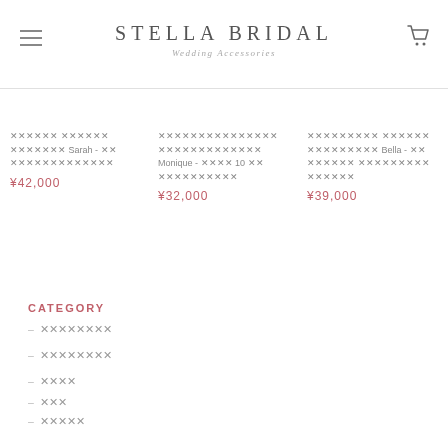STELLA BRIDAL — Wedding Accessories
ウェディング グローブ ロング Sarah - 両手 ウェディングアクセサリー ¥42,000
ウェディングアクセサリー Monique - 両手 10 本 ウェディンググローブ ¥32,000
ウェディング グローブ Bella - 両手 ロング ウェディング アクセサリー グローブ ¥39,000
CATEGORY
ヘッドドレス
ヘアアクセサリー
ピアス
ネック
グローブ
ガーター
ブレスレ
サポートストッキング(花嫁)
サポートストッキング(ブライズ)